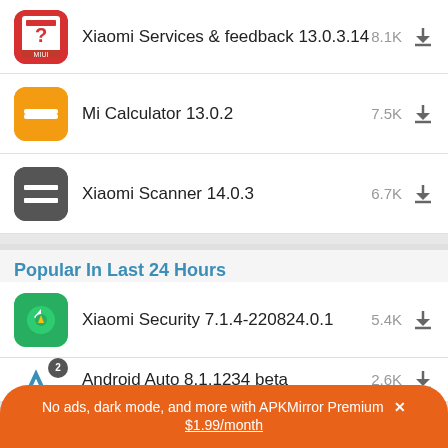Xiaomi Services & feedback 13.0.3.14 8.1K
Mi Calculator 13.0.2 7.5K
Xiaomi Scanner 14.0.3 6.7K
Popular In Last 24 Hours
Xiaomi Security 7.1.4-220824.0.1 5.4K
Android Auto 8.1.1234 beta 2.6K
No ads, dark mode, and more with APKMirror Premium × $1.99/month